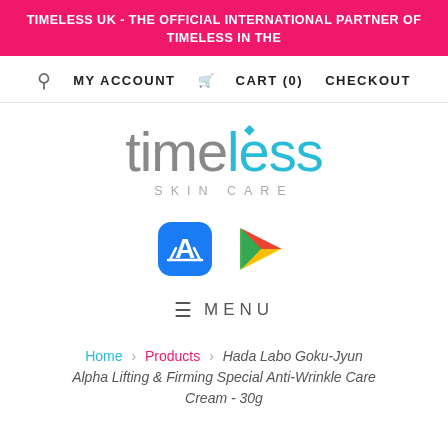TIMELESS UK - THE OFFICIAL INTERNATIONAL PARTNER OF TIMELESS IN THE
MY ACCOUNT  CART (0)  CHECKOUT
[Figure (logo): Timeless Skin Care logo with diamond icon above, 'time' in grey and 'less' in cyan/blue, 'SKIN CARE' in spaced uppercase below]
[Figure (other): App Store icon (blue rounded square with gear/wrench symbol) and Google Play icon (multicolor triangle play button)]
≡ MENU
Home › Products › Hada Labo Goku-Jyun Alpha Lifting & Firming Special Anti-Wrinkle Care Cream - 30g